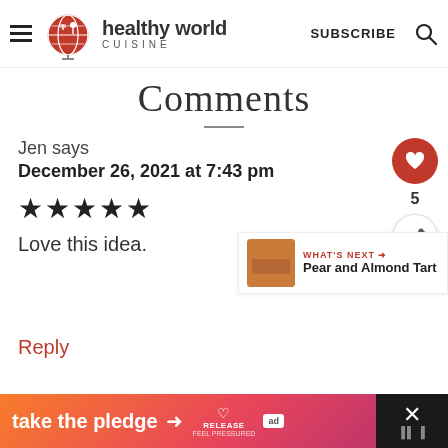[Figure (logo): Healthy World Cuisine logo with globe and fork/spoon icon, with SUBSCRIBE and search icon in header]
Comments
Jen says
December 26, 2021 at 7:43 pm
★★★★★
Love this idea.
Reply
[Figure (infographic): Ad banner: take the pledge → RELEASE ad, with close button]